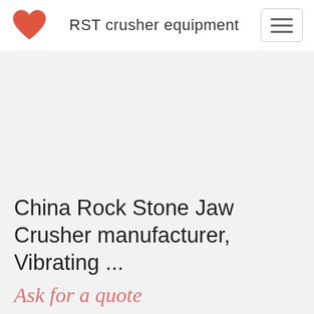RST crusher equipment
China Rock Stone Jaw Crusher manufacturer, Vibrating ...
Ask for a quote
Rock Stone Jaw Crusher, Vibrating Screen, Mobile Crusher manufacturer / supplier in China, offering Spiral Screen Sand ...